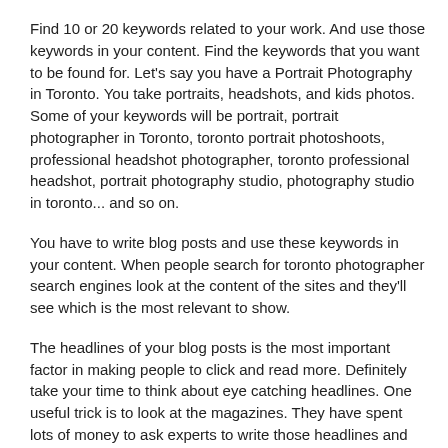Find 10 or 20 keywords related to your work. And use those keywords in your content. Find the keywords that you want to be found for. Let's say you have a Portrait Photography in Toronto. You take portraits, headshots, and kids photos. Some of your keywords will be portrait, portrait photographer in Toronto, toronto portrait photoshoots, professional headshot photographer, toronto professional headshot, portrait photography studio, photography studio in toronto... and so on.
You have to write blog posts and use these keywords in your content. When people search for toronto photographer search engines look at the content of the sites and they'll see which is the most relevant to show.
The headlines of your blog posts is the most important factor in making people to click and read more. Definitely take your time to think about eye catching headlines. One useful trick is to look at the magazines. They have spent lots of money to ask experts to write those headlines and they monitor, measure and make improvements. Look what they are doing and how they are writing their headlines and then follow their work. Just change the words to make it relevant to your post.
To learn from...